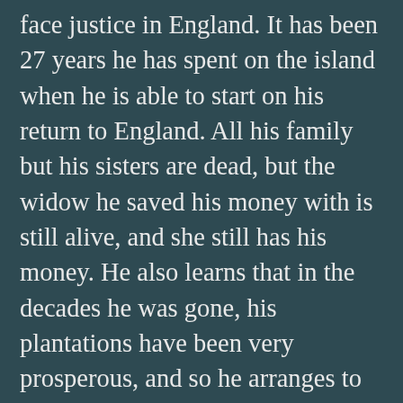face justice in England. It has been 27 years he has spent on the island when he is able to start on his return to England. All his family but his sisters are dead, but the widow he saved his money with is still alive, and she still has his money. He also learns that in the decades he was gone, his plantations have been very prosperous, and so he arranges to sell them, determining that he will not sail again, even to get to England; he will go by land. He has struggles traveling by land because of storms and wildlife, but finally gets back and is able to get his money from the sale of his plantations and the widow. He gives the widow and his sisters portions of his profits, and then considers taking another voyage to Brazil, but changes his mind because he does not want to